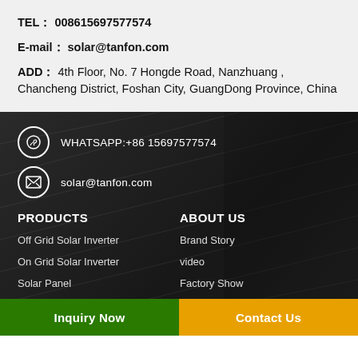TEL： 008615697577574
E-mail： solar@tanfon.com
ADD： 4th Floor, No. 7 Hongde Road, Nanzhuang , Chancheng District, Foshan City, GuangDong Province, China
WHATSAPP:+86 15697577574
solar@tanfon.com
PRODUCTS
ABOUT US
Off Grid Solar Inverter
On Grid Solar Inverter
Solar Panel
Solar Battery
Brand Story
video
Factory Show
Factory
Inquiry Now
Contact Us